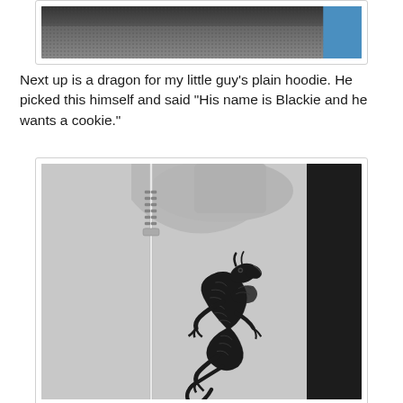[Figure (photo): Close-up photo of a dark athletic jacket/hoodie fabric with gray mesh texture and blue accent on the right side]
Next up is a dragon for my little guy's plain hoodie. He picked this himself and said "His name is Blackie and he wants a cookie."
[Figure (photo): Photo of a gray zip-up hoodie with an embroidered black dragon design on the chest area, zipper visible on the left side]